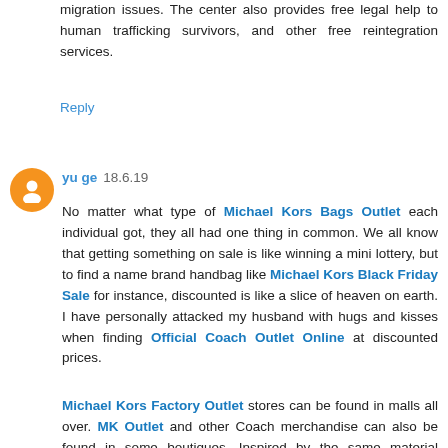migration issues. The center also provides free legal help to human trafficking survivors, and other free reintegration services.
Reply
yu ge 18.6.19
No matter what type of Michael Kors Bags Outlet each individual got, they all had one thing in common. We all know that getting something on sale is like winning a mini lottery, but to find a name brand handbag like Michael Kors Black Friday Sale for instance, discounted is like a slice of heaven on earth. I have personally attacked my husband with hugs and kisses when finding Official Coach Outlet Online at discounted prices.
Michael Kors Factory Outlet stores can be found in malls all over. MK Outlet and other Coach merchandise can also be found in some boutiques. Inspired by the same material baseball gloves are made from, these Coach Bags On Sale Online are versatile and stylish. Since it's conception, the Michael Kors Handbags Outlet has been produced